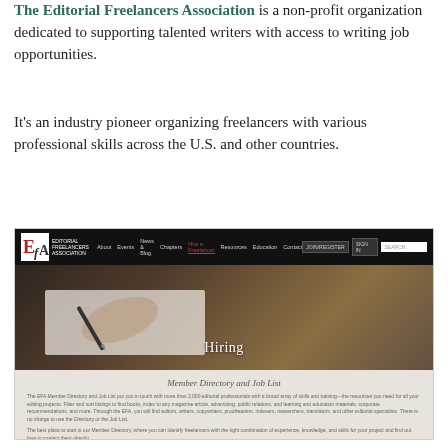The Editorial Freelancers Association is a non-profit organization dedicated to supporting talented writers with access to writing job opportunities.
It's an industry pioneer organizing freelancers with various professional skills across the U.S. and other countries.
[Figure (screenshot): Screenshot of the Editorial Freelancers Association website showing the navigation bar with logo and links, a hero image of a hand writing in a notebook with the word 'Hiring' overlaid, and a lower section showing 'Member Directory and Job List' with descriptive text about the EFA's member directory and job list services.]